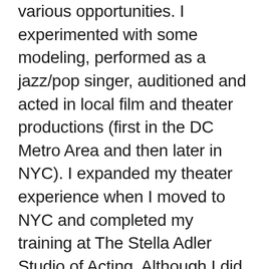various opportunities. I experimented with some modeling, performed as a jazz/pop singer, auditioned and acted in local film and theater productions (first in the DC Metro Area and then later in NYC). I expanded my theater experience when I moved to NYC and completed my training at The Stella Adler Studio of Acting. Although I did work on film as well, after finishing the conservatory program, I focused primarily on developing myself as a producer/writer and performing in as many plays as possible. So in one way or another, acting or theater has been part of my journey as a storyteller and multi-disciplinary artist.
Allison Hohman: What do you love